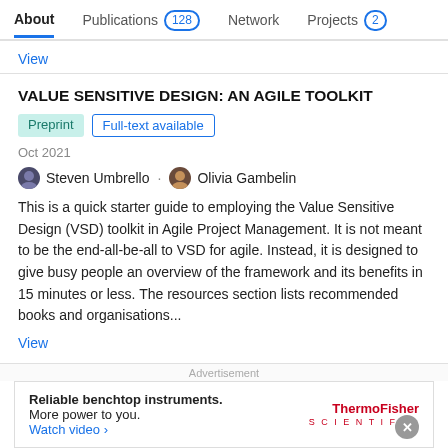About | Publications 128 | Network | Projects 2
View
VALUE SENSITIVE DESIGN: AN AGILE TOOLKIT
Preprint | Full-text available
Oct 2021
Steven Umbrello · Olivia Gambelin
This is a quick starter guide to employing the Value Sensitive Design (VSD) toolkit in Agile Project Management. It is not meant to be the end-all-be-all to VSD for agile. Instead, it is designed to give busy people an overview of the framework and its benefits in 15 minutes or less. The resources section lists recommended books and organisations...
View
Advertisement
Reliable benchtop instruments. More power to you. Watch video › ThermoFisher SCIENTIFIC